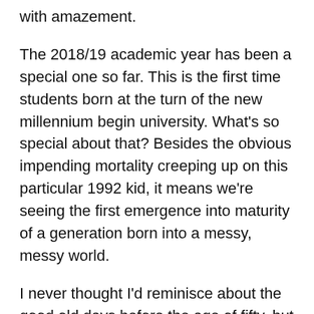with amazement.
The 2018/19 academic year has been a special one so far. This is the first time students born at the turn of the new millennium begin university. What's so special about that? Besides the obvious impending mortality creeping up on this particular 1992 kid, it means we're seeing the first emergence into maturity of a generation born into a messy, messy world.
I never thought I'd reminisce about the good old days before the age of fifty, but to plagiarise Douglas Adams,
“In those days spirits were brave, the stakes were high, men were real men, women were real women and small furry creatures from Alpha Centauri were real small